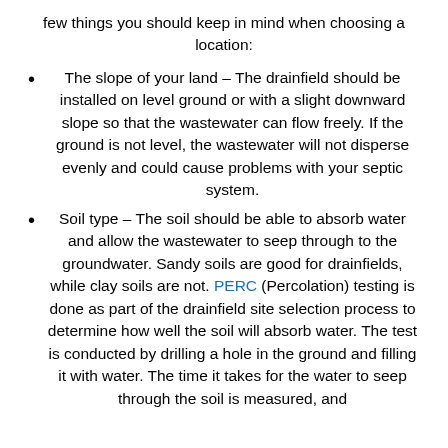few things you should keep in mind when choosing a location:
The slope of your land – The drainfield should be installed on level ground or with a slight downward slope so that the wastewater can flow freely. If the ground is not level, the wastewater will not disperse evenly and could cause problems with your septic system.
Soil type – The soil should be able to absorb water and allow the wastewater to seep through to the groundwater. Sandy soils are good for drainfields, while clay soils are not. PERC (Percolation) testing is done as part of the drainfield site selection process to determine how well the soil will absorb water. The test is conducted by drilling a hole in the ground and filling it with water. The time it takes for the water to seep through the soil is measured, and